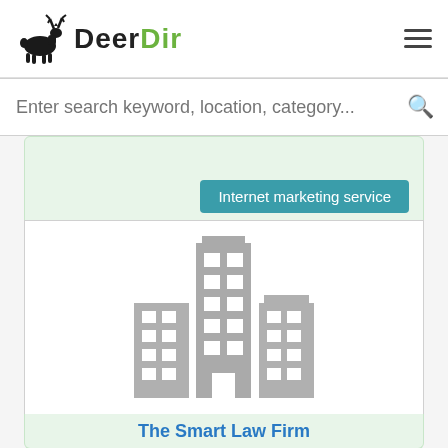DeerDir
Enter search keyword, location, category...
Internet marketing service
[Figure (illustration): Generic office buildings icon — three grey skyscrapers with white window grids, center building tallest]
The Smart Law Firm